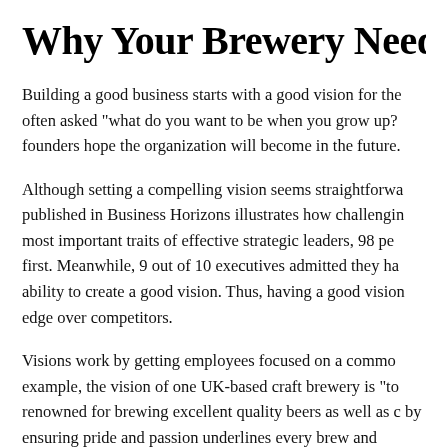Why Your Brewery Needs
Building a good business starts with a good vision for the... often asked “what do you want to be when you grow up?” founders hope the organization will become in the future.
Although setting a compelling vision seems straightforward, published in Business Horizons illustrates how challenging most important traits of effective strategic leaders, 98 per first. Meanwhile, 9 out of 10 executives admitted they had ability to create a good vision. Thus, having a good vision edge over competitors.
Visions work by getting employees focused on a common example, the vision of one UK-based craft brewery is “to renowned for brewing excellent quality beers as well as c by ensuring pride and passion underlines every brew and...